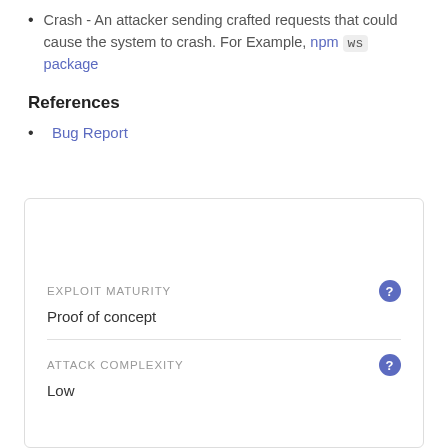Crash - An attacker sending crafted requests that could cause the system to crash. For Example, npm ws package
References
Bug Report
| EXPLOIT MATURITY | ATTACK COMPLEXITY |
| --- | --- |
| Proof of concept | Low |